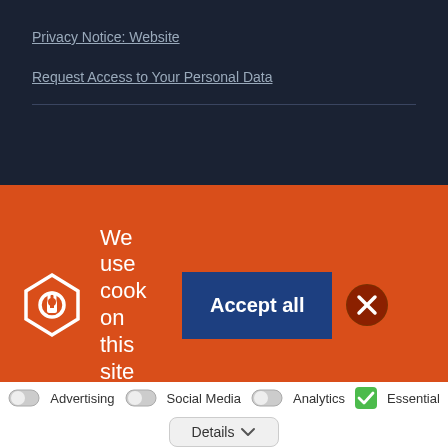Privacy Notice: Website
Request Access to Your Personal Data
[Figure (screenshot): Cookie consent banner with orange background, lock icon, 'We use cook on this site' text, 'Accept all' blue button, and close X button]
Advertising  Social Media  Analytics  Essential
Details